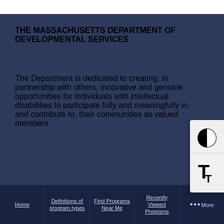THE MASSACHUSETTS DEPARTMENT OF DEVELOPMENTAL SERVICES
The Department is dedicated to creating, in partnership with others, innovative and genuine opportunities for individuals with intellectual disabilities to participate fully and meaningfully in, and contribute to, their communities as valued members.
INDEX
Home | Definitions of program types | Find Programs Near Me | Recently Viewed Programs | More